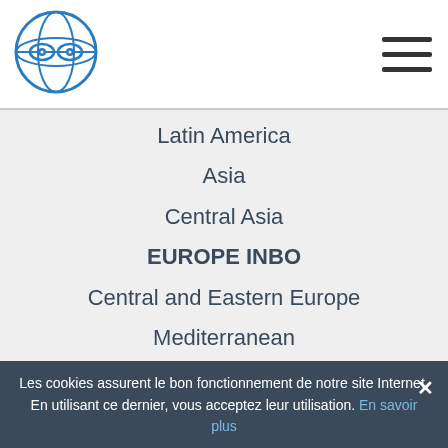[Figure (logo): INBO circular logo in blue with globe and eye motifs]
Latin America
Asia
Central Asia
EUROPE INBO
Central and Eastern Europe
Mediterranean
News
INBO Webinars
International initiatives
Les cookies assurent le bon fonctionnement de notre site Internet. En utilisant ce dernier, vous acceptez leur utilisation. En savoir plus